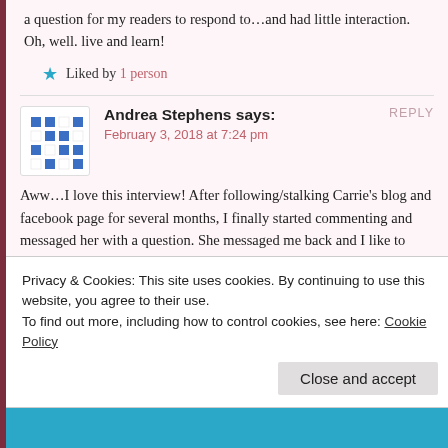a question for my readers to respond to…and had little interaction. Oh, well. live and learn!
Liked by 1 person
Andrea Stephens says:
February 3, 2018 at 7:24 pm
Aww…I love this interview! After following/stalking Carrie's blog and facebook page for several months, I finally started commenting and messaged her with a question. She messaged me back and I like to think that we are sweet friends now. Meeting her and getting to hug her in person was the highlight of 2017 for me. She
Privacy & Cookies: This site uses cookies. By continuing to use this website, you agree to their use.
To find out more, including how to control cookies, see here: Cookie Policy
Close and accept